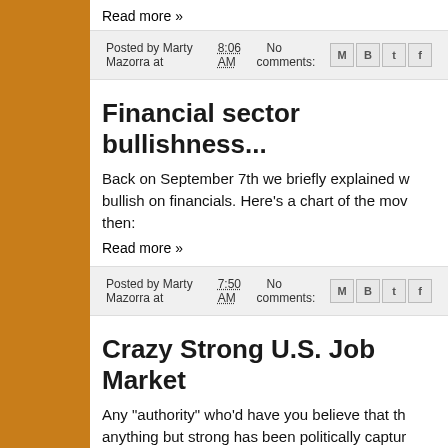Read more »
Posted by Marty Mazorra at 8:06 AM   No comments:
Financial sector bullishness...
Back on September 7th we briefly explained w... bullish on financials. Here's a chart of the mov... then:
Read more »
Posted by Marty Mazorra at 7:50 AM   No comments:
Crazy Strong U.S. Job Market
Any "authority" who'd have you believe that th... anything but strong has been politically captur...
Read more »